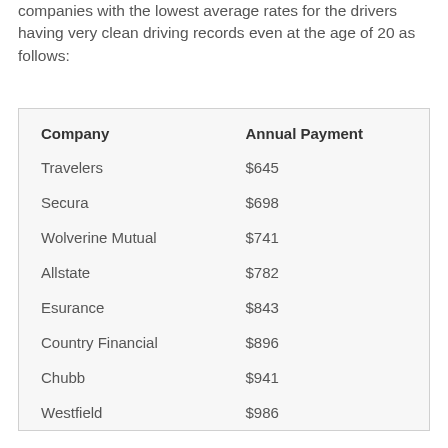companies with the lowest average rates for the drivers having very clean driving records even at the age of 20 as follows:
| Company | Annual Payment |
| --- | --- |
| Travelers | $645 |
| Secura | $698 |
| Wolverine Mutual | $741 |
| Allstate | $782 |
| Esurance | $843 |
| Country Financial | $896 |
| Chubb | $941 |
| Westfield | $986 |